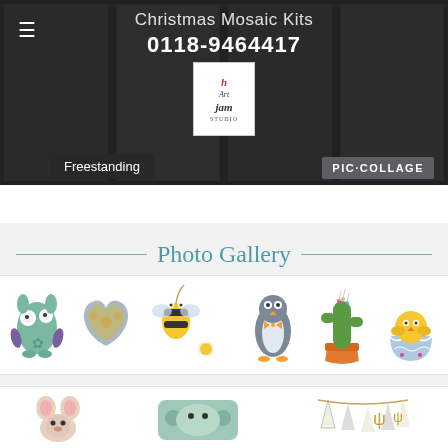[Figure (screenshot): Website header with dark background showing 'Christmas Mosaic Kits' text, phone number 0118-9464417, Art Jam Studio logo, hamburger menu icon, 'Freestanding' button and 'PIC·COLLAGE' watermark]
Photo Gallery
[Figure (photo): Row of handmade craft/felt items: green monster figure, heart-shaped cushion, bee ornament with daisy, penguin figure, cactus pincushion, chick in egg]
[Figure (photo): Partial second row of craft items: mouse ears, animal figure, bunting/triangular flags]